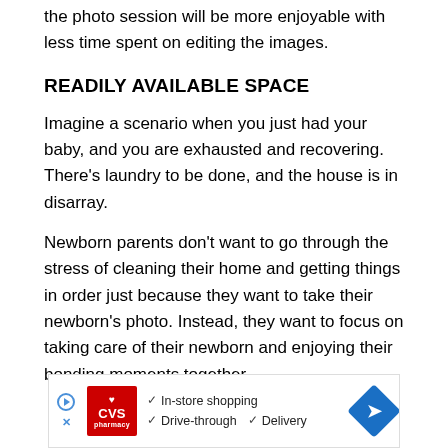the photo session will be more enjoyable with less time spent on editing the images.
READILY AVAILABLE SPACE
Imagine a scenario when you just had your baby, and you are exhausted and recovering. There’s laundry to be done, and the house is in disarray.
Newborn parents don’t want to go through the stress of cleaning their home and getting things in order just because they want to take their newborn’s photo. Instead, they want to focus on taking care of their newborn and enjoying their bonding moments together.
[Figure (other): CVS Pharmacy advertisement banner showing in-store shopping, drive-through and delivery options with navigation icon]